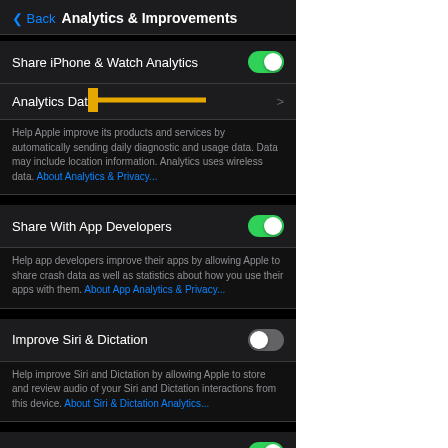Analytics & Improvements
Share iPhone & Watch Analytics [toggle ON]
Analytics Data [chevron, with yellow arrow pointing]
Help Apple improve its products and services by automatically sending daily diagnostic and usage data. Data may include location information. Analytics uses wireless data. About Analytics & Privacy...
Share With App Developers [toggle ON]
Help app developers improve their apps by allowing Apple to share crash data as well as statistics about how you use their apps with them. About App Analytics & Privacy...
Improve Siri & Dictation [toggle OFF]
Help improve Siri and Dictation by allowing Apple to store and review audio of your Siri and Dictation interactions from this device. About Siri & Dictation Analytics...
Share iCloud Analytics [toggle ON]
Help Apple improve its products and services, including Siri and other intelligent features, by allowing analytics of usage and data from your iCloud account. About